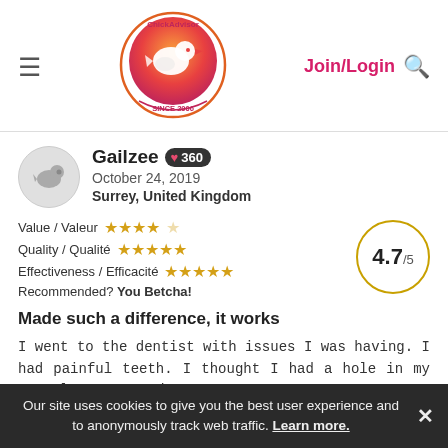[Figure (logo): ChickAdvisor logo — circular gradient orange-to-red with white bird silhouette, text 'SINCE 2006']
Join/Login
Gailzee ❤ 360
October 24, 2019
Surrey, United Kingdom
Value / Valeur ★★★★☆   4.7/5
Quality / Qualité ★★★★★
Effectiveness / Efficacité ★★★★★
Recommended? You Betcha!
Made such a difference, it works
I went to the dentist with issues I was having. I had painful teeth. I thought I had a hole in my enamel or my teeth
Our site uses cookies to give you the best user experience and to anonymously track web traffic. Learn more.